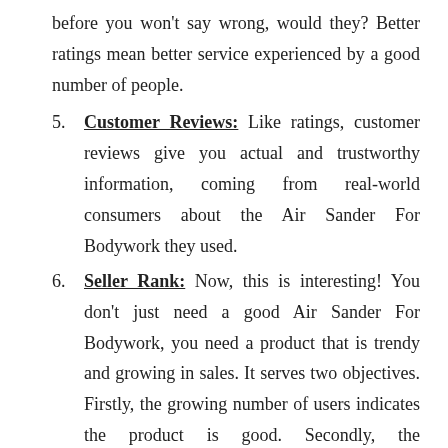before you won't say wrong, would they? Better ratings mean better service experienced by a good number of people.
Customer Reviews: Like ratings, customer reviews give you actual and trustworthy information, coming from real-world consumers about the Air Sander For Bodywork they used.
Seller Rank: Now, this is interesting! You don't just need a good Air Sander For Bodywork, you need a product that is trendy and growing in sales. It serves two objectives. Firstly, the growing number of users indicates the product is good. Secondly, the manufacturers will hopefully provide better quality and after-sales